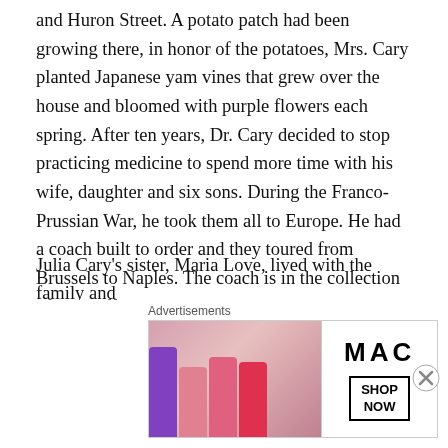and Huron Street. A potato patch had been growing there, in honor of the potatoes, Mrs. Cary planted Japanese yam vines that grew over the house and bloomed with purple flowers each spring. After ten years, Dr. Cary decided to stop practicing medicine to spend more time with his wife, daughter and six sons. During the Franco-Prussian War, he took them all to Europe. He had a coach built to order and they toured from Brussels to Naples. The coach is in the collection of the Buffalo History Museum. During President Grant's presidency, Dr. Cary brought his family to Washington for the winter. They were guests at many White House functions during this time.
Julia Cary's sister, Maria Love, lived with the family and
[Figure (other): Advertisement banner showing MAC cosmetics lipsticks with 'SHOP NOW' button]